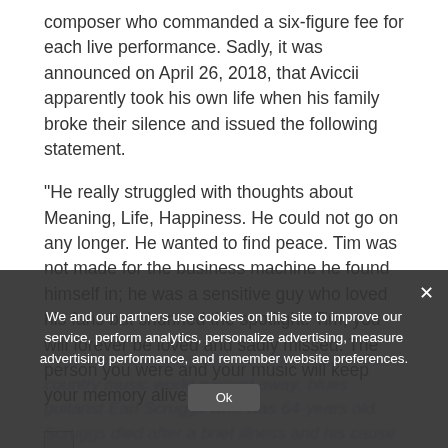composer who commanded a six-figure fee for each live performance. Sadly, it was announced on April 26, 2018, that Aviccii apparently took his own life when his family broke their silence and issued the following statement.
“He really struggled with thoughts about Meaning, Life, Happiness. He could not go on any longer. He wanted to find peace. Tim was not made for the business machine he found himself in; he was a sensitive guy who loved his fans but shunned the spotlight. Tim, you will forever be loved and sadly missed. The person you were and your music will keep your memory alive.”
[Figure (other): Small broken image placeholder icon]
Less than two years later, another artist in the country music world passed away: blues guitarist Earl Scruggs who was 64-years old. Scruggs died after a brief illness and his cause of death was not revealed.
We and our partners use cookies on this site to improve our service, perform analytics, personalize advertising, measure advertising performance, and remember website preferences.